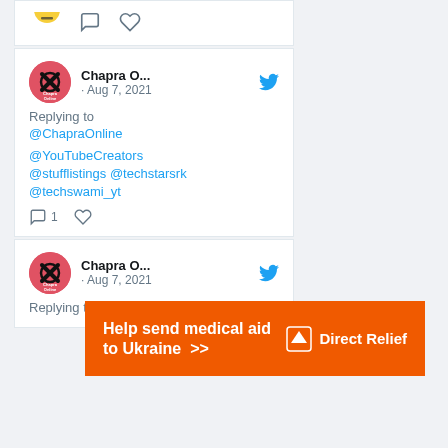[Figure (screenshot): Partial tweet card showing comment and heart icons at bottom]
[Figure (screenshot): Tweet from Chapra O... dated Aug 7, 2021, replying to @ChapraOnline, mentioning @YouTubeCreators @stufflistings @techstarsrk @techswami_yt, with 1 reply icon and heart icon]
[Figure (screenshot): Second tweet from Chapra O... dated Aug 7, 2021, replying to (cut off)]
[Figure (infographic): Orange Direct Relief advertisement banner: Help send medical aid to Ukraine >>]